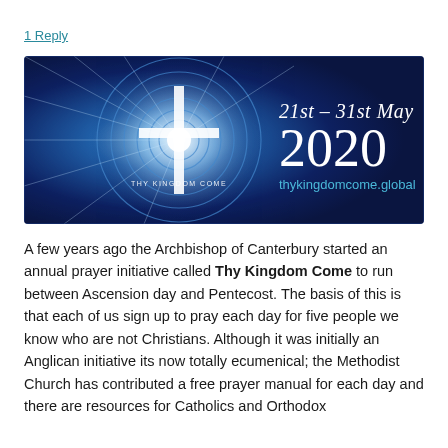1 Reply
[Figure (illustration): Banner image for Thy Kingdom Come prayer initiative. Dark blue/navy background with a glowing white cross and concentric circles on the left, text on right: '21st – 31st May 2020' and 'thykingdomcome.global']
A few years ago the Archbishop of Canterbury started an annual prayer initiative called Thy Kingdom Come to run between Ascension day and Pentecost. The basis of this is that each of us sign up to pray each day for five people we know who are not Christians. Although it was initially an Anglican initiative its now totally ecumenical; the Methodist Church has contributed a free prayer manual for each day and there are resources for Catholics and Orthodox